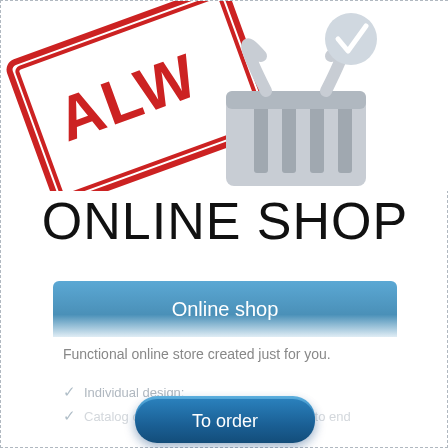[Figure (illustration): Top portion shows an 'ALWAYS' price tag sticker in red and white (partially cropped) on the left, and a grey shopping basket icon with a checkmark on the right.]
ONLINE SHOP
Online shop
Functional online store created just for you.
Individual design;
Catalog of goods and services with end to end
See more
To order